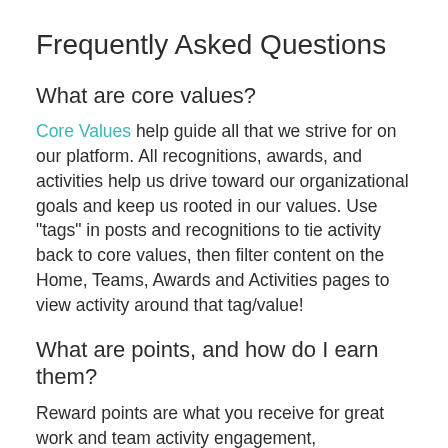Frequently Asked Questions
What are core values?
Core Values help guide all that we strive for on our platform. All recognitions, awards, and activities help us drive toward our organizational goals and keep us rooted in our values. Use "tags" in posts and recognitions to tie activity back to core values, then filter content on the Home, Teams, Awards and Activities pages to view activity around that tag/value!
What are points, and how do I earn them?
Reward points are what you receive for great work and team activity engagement,